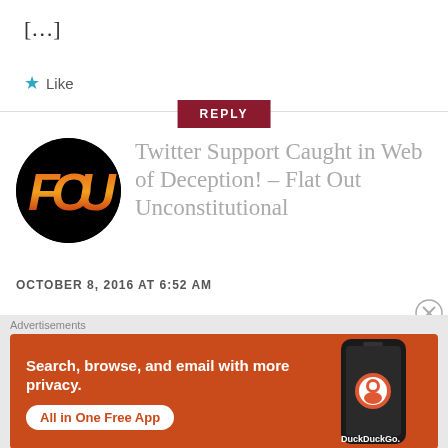[…]
★ Like
REPLY
[Figure (logo): FOU logo: black circle with stylized red and orange letters F, O, U]
Twitter Support Caught in Web of Deception! – Flat Out Unconstitutional
OCTOBER 8, 2016 AT 6:52 AM
Advertisements
[Figure (infographic): DuckDuckGo advertisement banner: orange background with white text 'Search, browse, and email with more privacy.' and 'All in One Free App' button, with a phone mockup and DuckDuckGo logo on the right.]